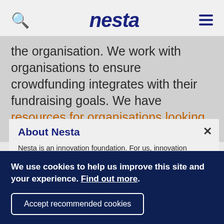nesta
the organisation. We work with organisations to ensure crowdfunding integrates with their fundraising goals. We have resources for organisations looking into crowdfunding on our website.
About Nesta
Nesta is an innovation foundation. For us, innovation means turning bold ideas into reality and changing lives for the better. We use our expertise, skills and funding in areas where there are big challenges facing
We use cookies to help us improve this site and your experience. Find out more.
Accept recommended cookies